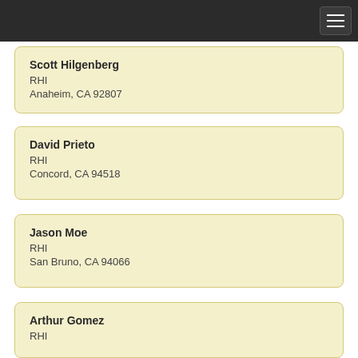Scott Hilgenberg
RHI
Anaheim, CA 92807
David Prieto
RHI
Concord, CA 94518
Jason Moe
RHI
San Bruno, CA 94066
Arthur Gomez
RHI